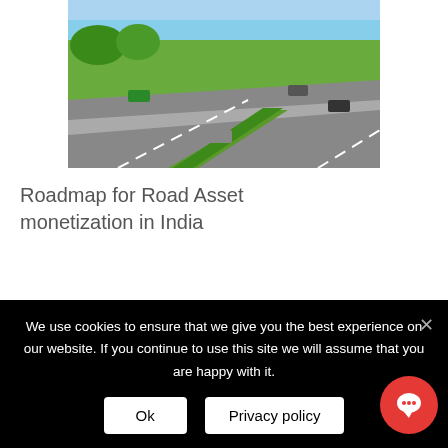[Figure (photo): Aerial view of a multi-lane highway with cars, green median divider]
Roadmap for Road Asset monetization in India
[Figure (photo): Busy Indian road with yellow and blue buses, city traffic, two circular profile photos of speakers, text overlay: 'Traffic Control and Safety Devices – need to improve']
Road Traffic Control and Safety Devices – Where we
We use cookies to ensure that we give you the best experience on our website. If you continue to use this site we will assume that you are happy with it.
Ok
Privacy policy